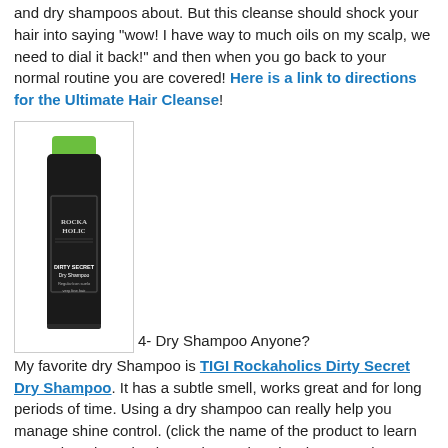and dry shampoos about. But this cleanse should shock your hair into saying "wow! I have way to much oils on my scalp, we need to dial it back!" and then when you go back to your normal routine you are covered! Here is a link to directions for the Ultimate Hair Cleanse!
[Figure (photo): A can of TIGI Rockaholics Dirty Secret Dry Shampoo with a green cap, black canister with decorative label text]
4- Dry Shampoo Anyone?
My favorite dry Shampoo is TIGI Rockaholics Dirty Secret Dry Shampoo. It has a subtle smell, works great and for long periods of time. Using a dry shampoo can really help you manage shine control. (click the name of the product to learn more about it, and to learn about other dry shampoos!)